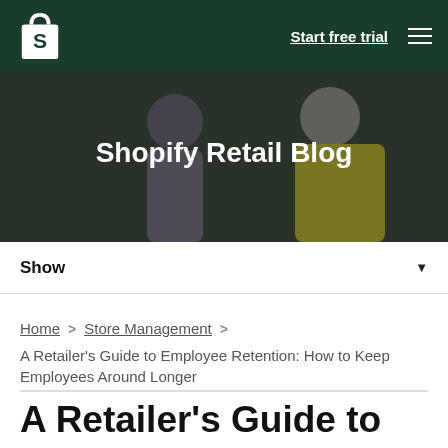Shopify — Start free trial
[Figure (photo): Hero image showing two people in a retail setting with dark overlay, titled Shopify Retail Blog]
Shopify Retail Blog
Show
Home > Store Management > A Retailer's Guide to Employee Retention: How to Keep Employees Around Longer
A Retailer's Guide to Employee Retention: How to Keep Employees Around Longer